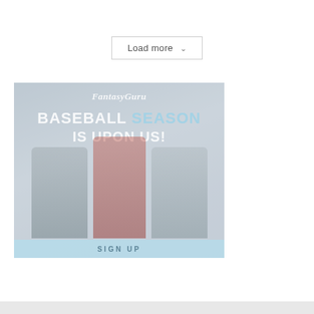Load more ˅
[Figure (illustration): FantasyGuru advertisement banner showing three baseball players with text 'BASEBALL SEASON IS UPON US!' and a 'SIGN UP' button at the bottom]